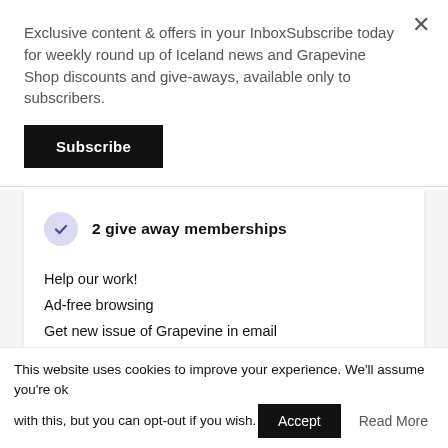Exclusive content & offers in your InboxSubscribe today for weekly round up of Iceland news and Grapevine Shop discounts and give-aways, available only to subscribers.
Subscribe
2 give away memberships
Help our work!
Ad-free browsing
Get new issue of Grapevine in email
Extra special offer on print subscriptions
Double discount code in our shop
Discount on custom page
This website uses cookies to improve your experience. We'll assume you're ok with this, but you can opt-out if you wish.
Accept
Read More